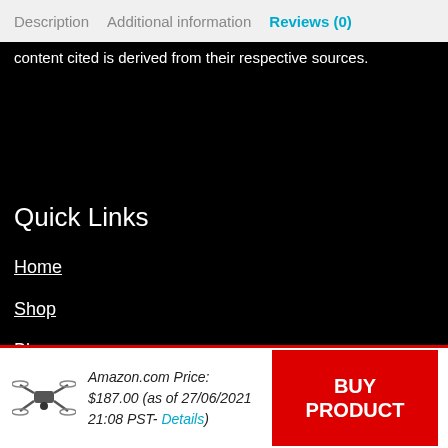Description   Additional information   Reviews (0)
content cited is derived from their respective sources.
Quick Links
Home
Shop
Blogs
Statements
Privacy Policy
Amazon.com Price: $187.00 (as of 27/06/2021 21:08 PST- Details)